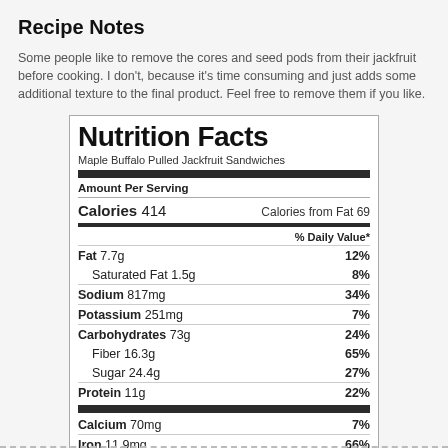Recipe Notes
Some people like to remove the cores and seed pods from their jackfruit before cooking. I don't, because it's time consuming and just adds some additional texture to the final product. Feel free to remove them if you like.
| Nutrition Facts |  |
| Maple Buffalo Pulled Jackfruit Sandwiches |  |
| Amount Per Serving |  |
| Calories 414 | Calories from Fat 69 |
| % Daily Value* |  |
| Fat 7.7g | 12% |
| Saturated Fat 1.5g | 8% |
| Sodium 817mg | 34% |
| Potassium 251mg | 7% |
| Carbohydrates 73g | 24% |
| Fiber 16.3g | 65% |
| Sugar 24.4g | 27% |
| Protein 11g | 22% |
| Calcium 70mg | 7% |
| Iron 11.9mg | 66% |
| * Percent Daily Values are based on a 2000 calorie diet. |  |